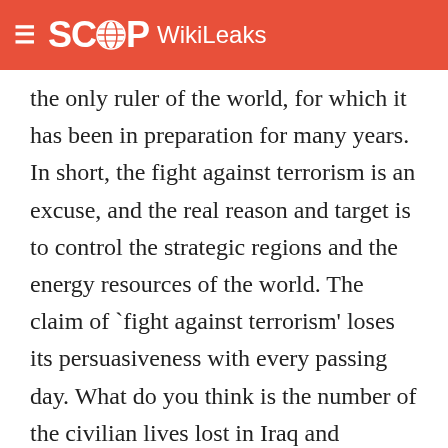SCOOP WikiLeaks
the only ruler of the world, for which it has been in preparation for many years. In short, the fight against terrorism is an excuse, and the real reason and target is to control the strategic regions and the energy resources of the world. The claim of `fight against terrorism' loses its persuasiveness with every passing day. What do you think is the number of the civilian lives lost in Iraq and Afghanistan since the occupation? As a recent example, how many civilians lost their lives in Tal Afar? Or in Fallujah, Bakuba, Ramadi and Najaf, which are under constant